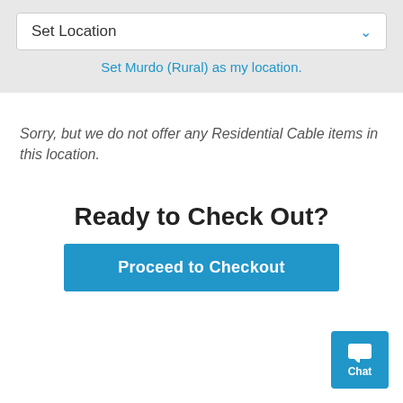Set Location
Set Murdo (Rural) as my location.
Sorry, but we do not offer any Residential Cable items in this location.
Ready to Check Out?
Proceed to Checkout
[Figure (screenshot): Blue chat widget button with speech bubble icon and 'Chat' label]